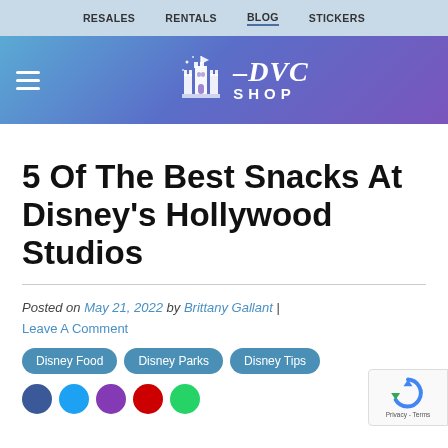RESALES   RENTALS   BLOG   STICKERS
[Figure (logo): DVC Shop logo with castle icon, white text on blue-purple gradient background, with hamburger menu icon on left]
5 Of The Best Snacks At Disney's Hollywood Studios
Posted on May 21, 2022 by Brittany Gallant | Leave A Comment
Disney Food
Disney Parks
Disney Tips